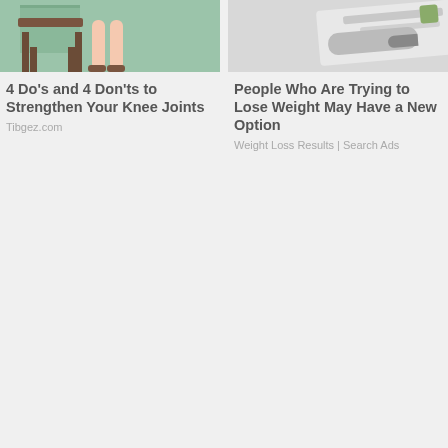[Figure (illustration): Illustration of a person's legs near a chair on a green background — left column thumbnail]
4 Do's and 4 Don'ts to Strengthen Your Knee Joints
Tibgez.com
[Figure (photo): Partial photo of what appears to be a weight loss product or device on a light background — right column thumbnail]
People Who Are Trying to Lose Weight May Have a New Option
Weight Loss Results | Search Ads